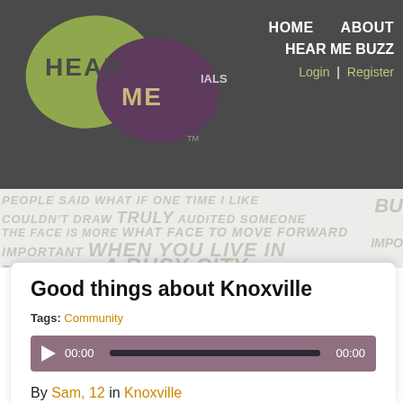Hear Me — HOME  ABOUT  HEAR ME BUZZ  Login | Register
[Figure (screenshot): Word cloud banner with phrases like PEOPLE SAID WHAT IF ONE TIME I LIKE COULDN'T DRAW TRULY WHAT FACE TO MOVE FORWARD IMPORTANT WHEN YOU LIVE IN A BUSY CITY and more in gray italic text on light background]
Good things about Knoxville
Tags: Community
[Figure (other): Audio player with play button, time display 00:00, progress bar, and end time 00:00 on mauve/purple background]
By Sam, 12 in Knoxville
Recorded at CLP Knoxville on August 26, 2014